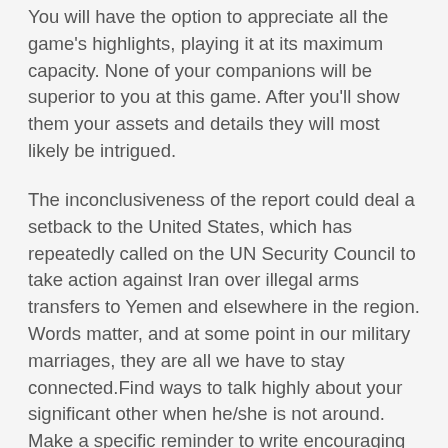You will have the option to appreciate all the game's highlights, playing it at its maximum capacity. None of your companions will be superior to you at this game. After you'll show them your assets and details they will most likely be intrigued.
The inconclusiveness of the report could deal a setback to the United States, which has repeatedly called on the UN Security Council to take action against Iran over illegal arms transfers to Yemen and elsewhere in the region. Words matter, and at some point in our military marriages, they are all we have to stay connected.Find ways to talk highly about your significant other when he/she is not around. Make a specific reminder to write encouraging notes, send messages listing their strengths or rent a billboard to highlight their accomplishments . Your words count for something, make them count for your relationship's good. There is a common misconception that going to marriage counseling is only for those in trouble. If you own a business, you would evaluate its performance; if you want to stay healthy you do a yearly physical; if you